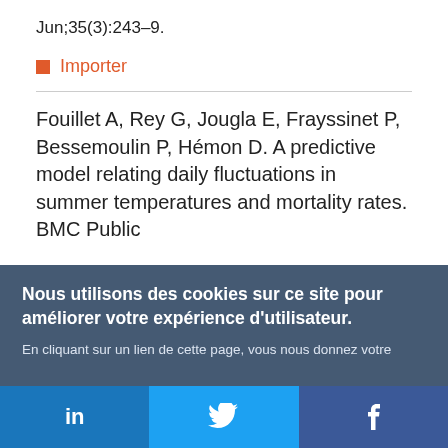Jun;35(3):243–9.
■ Importer
Fouillet A, Rey G, Jougla E, Frayssinet P, Bessemoulin P, Hémon D. A predictive model relating daily fluctuations in summer temperatures and mortality rates. BMC Public
Nous utilisons des cookies sur ce site pour améliorer votre expérience d'utilisateur. En cliquant sur un lien de cette page, vous nous donnez votre consentement de définir des cookies.
Oui, je suis d'accord | Plus d'infos
[Figure (other): Social media share bar with LinkedIn, Twitter, and Facebook icons]